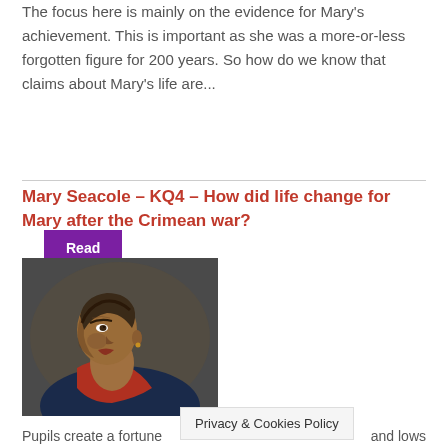The focus here is mainly on the evidence for Mary's achievement. This is important as she was a more-or-less forgotten figure for 200 years. So how do we know that claims about Mary's life are...
Read more
Mary Seacole – KQ4 – How did life change for Mary after the Crimean war?
[Figure (photo): Portrait painting of Mary Seacole, an elderly woman in profile view facing left, wearing a red scarf/shawl over a dark garment, against a dark background]
Pupils create a fortune... and lows
Privacy & Cookies Policy